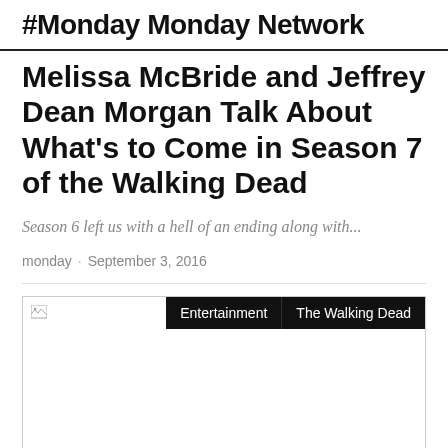#Monday Monday Network
Melissa McBride and Jeffrey Dean Morgan Talk About What's to Come in Season 7 of the Walking Dead
Season 6 left us with a hell of an ending along with...
monday · September 3, 2016
[Figure (photo): Article image with Entertainment and The Walking Dead category tags overlaid on the top right]